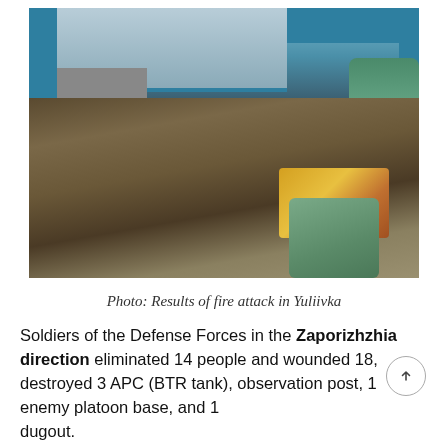[Figure (photo): Interior of a destroyed room in Yuliivka — debris, rubble, broken furniture, yellow and orange pillows/mattresses on the floor, blue walls damaged, windows broken, green plastic bags visible.]
Photo: Results of fire attack in Yuliivka
Soldiers of the Defense Forces in the Zaporizhzhia direction eliminated 14 people and wounded 18, destroyed 3 APC (BTR tank), observation post, 1 enemy platoon base, and 1 dugout.